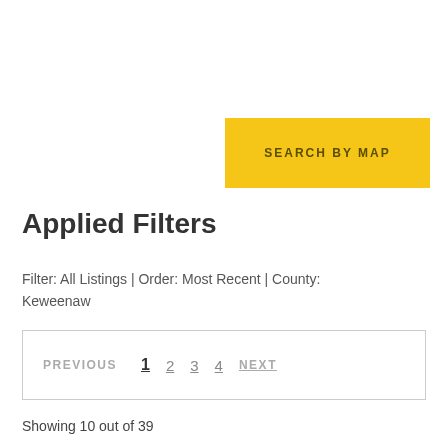[Figure (other): Yellow button labeled SEARCH BY MAP]
Applied Filters
Filter: All Listings | Order: Most Recent | County: Keweenaw
PREVIOUS  1  2  3  4  NEXT
Showing 10 out of 39